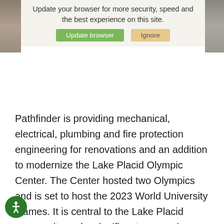[Figure (screenshot): Browser update notification banner with two side images, text 'Update your browser for more security, speed and the best experience on this site.' and two buttons: 'Update browser' (green) and 'Ignore' (tan/yellow)]
Pathfinder is providing mechanical, electrical, plumbing and fire protection engineering for renovations and an addition to modernize the Lake Placid Olympic Center. The Center hosted two Olympics and is set to host the 2023 World University Games. It is central to the Lake Placid community and a significant economic generator for the local market and tourism. The facility is in need of renovation to stay relevant for hosting national and world competitions. The existing complex has three ice